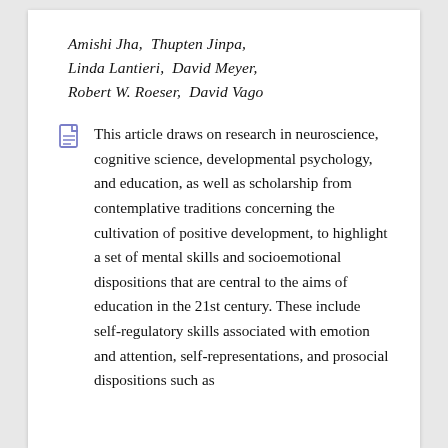Amishi Jha,  Thupten Jinpa,  Linda Lantieri,  David Meyer,  Robert W. Roeser,  David Vago
This article draws on research in neuroscience, cognitive science, developmental psychology, and education, as well as scholarship from contemplative traditions concerning the cultivation of positive development, to highlight a set of mental skills and socioemotional dispositions that are central to the aims of education in the 21st century. These include self-regulatory skills associated with emotion and attention, self-representations, and prosocial dispositions such as